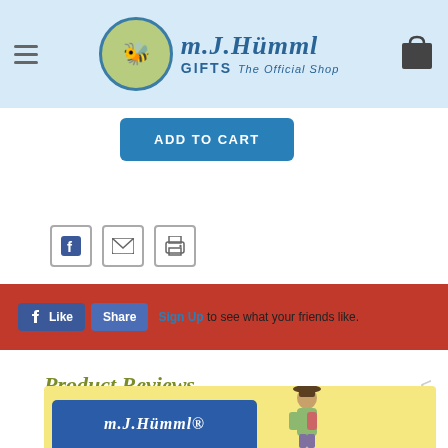[Figure (logo): M.J. Hummel Gifts The Official Shop logo with circular emblem and cart icon in light blue header]
[Figure (screenshot): Blue ADD TO CART button]
[Figure (infographic): Social sharing icons: Facebook, email, and print]
[Figure (screenshot): Red Facebook Like/Share bar with Like button, Share button, and Sign Up text: 'to see what your friends like.']
Product Reviews
[Figure (logo): M.J. Hummel brand bottom banner on yellow background with blue logo panel and figurine illustration]